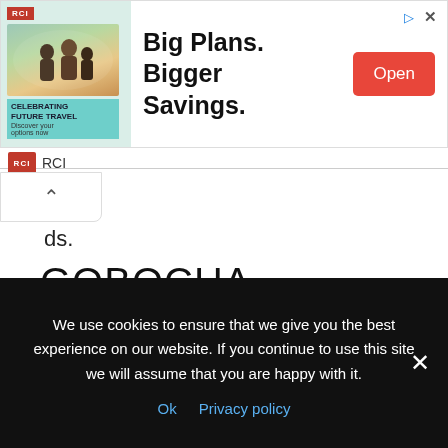[Figure (screenshot): RCI advertisement banner: 'Big Plans. Bigger Savings.' with image of people and Open button]
ds.
GOBOCHA
The burdock root – known in Japan as gobo – is shaved and roasted to make this tea. The flavor of gobocha is earthy and described as being similar to that of a broth made from mushrooms.
FRONTIER CO-OP ORGANIC
We use cookies to ensure that we give you the best experience on our website. If you continue to use this site we will assume that you are happy with it.
Ok  Privacy policy